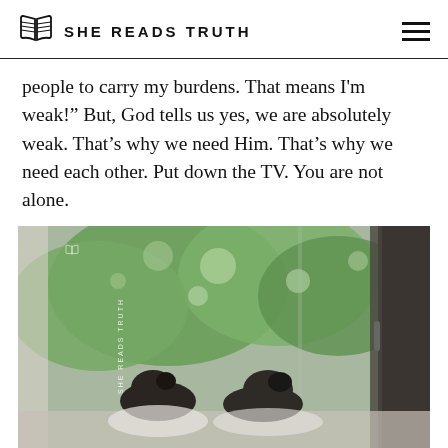SHE READS TRUTH
people to carry my burdens. That means I'm weak!" But, God tells us yes, we are absolutely weak. That's why we need Him. That's why we need each other. Put down the TV. You are not alone.
[Figure (photo): Two people viewed from behind, leaning on a windowsill looking out at green trees through an open window. A watermark reads SHE READS TRUTH vertically on the left side of the image.]